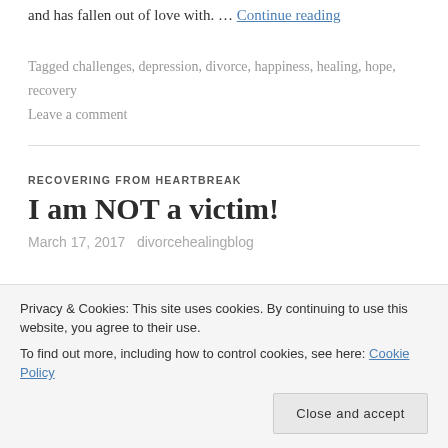decided to leave the marriage out of a sense of unhappiness and has fallen out of love with. … Continue reading
Tagged challenges, depression, divorce, happiness, healing, hope, recovery
Leave a comment
RECOVERING FROM HEARTBREAK
I am NOT a victim!
March 17, 2017   divorcehealingblog
Privacy & Cookies: This site uses cookies. By continuing to use this website, you agree to their use. To find out more, including how to control cookies, see here: Cookie Policy
Close and accept